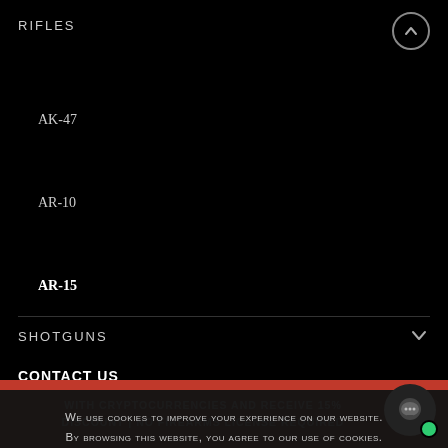RIFLES
AK-47
AR-10
AR-15
SHOTGUNS
CONTACT US
STORE HOURS
We use cookies to improve your experience on our website. By browsing this website, you agree to our use of cookies.
ACCEPT
WITH CRYPTOCURRENCIES AND RECEIVE 15% DISCOUNT | NO FIREARMS LICENSE REQUIRED